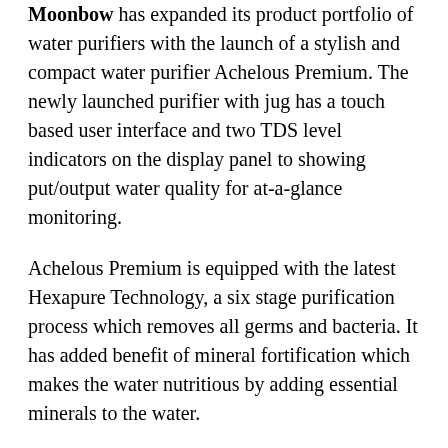Moonbow has expanded its product portfolio of water purifiers with the launch of a stylish and compact water purifier Achelous Premium. The newly launched purifier with jug has a touch based user interface and two TDS level indicators on the display panel to showing put/output water quality for at-a-glance monitoring.
Achelous Premium is equipped with the latest Hexapure Technology, a six stage purification process which removes all germs and bacteria. It has added benefit of mineral fortification which makes the water nutritious by adding essential minerals to the water.
The compact water purifier boasts of an aesthetic design and the premium finish black body with chrome plated touch panel gives it a modern and fashion-forward look. The glass-finish jug can hold up to 2 litre of water and can be easily placed in the refrigerator and used as storage or a serving container. The sensor enabled Jug